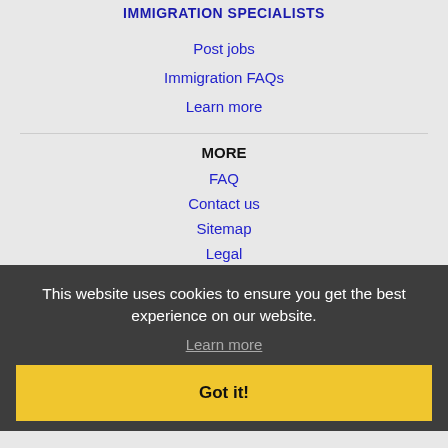IMMIGRATION SPECIALISTS
Post jobs
Immigration FAQs
Learn more
MORE
FAQ
Contact us
Sitemap
Legal
NEARBY CITIES
Alameda, CA Jobs
Antioch, CA Jobs
Arden-Arcade, CA Jobs
Berkeley, CA Jobs
This website uses cookies to ensure you get the best experience on our website.
Learn more
Got it!